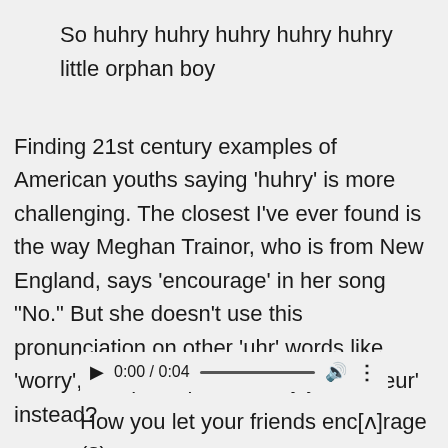So huhry huhry huhry huhry huhry little orphan boy
Finding 21st century examples of American youths saying 'huhry' is more challenging. The closest I've ever found is the way Meghan Trainor, who is from New England, says 'encourage' in her song "No." But she doesn't use this pronunciation on other 'uhr' words like 'worry', and perhaps it's really just an 'eur' instead?
[Figure (other): Audio player showing 0:00 / 0:04 with play button, progress bar, volume icon, and more options icon]
How you let your friends enc[ʌ]rage (?)